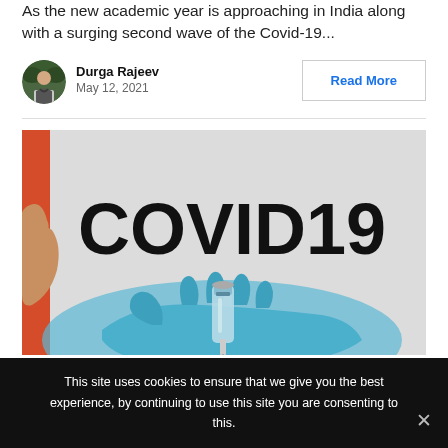As the new academic year is approaching in India along with a surging second wave of the Covid-19...
[Figure (photo): Author avatar photo of Durga Rajeev]
Durga Rajeev
May 12, 2021
Read More
[Figure (photo): Photo showing a blue-gloved hand holding a vaccine vial with 'COVID19' text in bold on a light background, and another hand visible on the left side]
This site uses cookies to ensure that we give you the best experience, by continuing to use this site you are consenting to this.